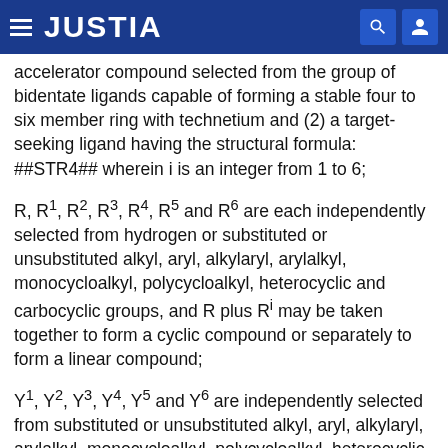JUSTIA
accelerator compound selected from the group of bidentate ligands capable of forming a stable four to six member ring with technetium and (2) a target-seeking ligand having the structural formula: ##STR4## wherein i is an integer from 1 to 6;
R, R.sup.1, R.sup.2, R.sup.3, R.sup.4, R.sup.5 and R.sup.6 are each independently selected from hydrogen or substituted or unsubstituted alkyl, aryl, alkylaryl, arylalkyl, monocycloalkyl, polycycloalkyl, heterocyclic and carbocyclic groups, and R plus R.sup.i may be taken together to form a cyclic compound or separately to form a linear compound;
Y.sup.1, Y.sup.2, Y.sup.3, Y.sup.4, Y.sup.5 and Y.sup.6 are independently selected from substituted or unsubstituted alkyl, aryl, alkylaryl, arylalkyl, monocycloalkyl, polycycloalkyl, heterocyclic and